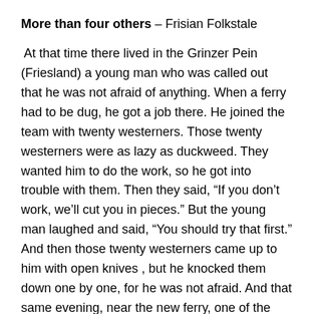More than four others – Frisian Folkstale
At that time there lived in the Grinzer Pein (Friesland) a young man who was called out that he was not afraid of anything. When a ferry had to be dug, he got a job there. He joined the team with twenty westerners. Those twenty westerners were as lazy as duckweed. They wanted him to do the work, so he got into trouble with them. Then they said, “If you don’t work, we’ll cut you in pieces.” But the young man laughed and said, “You should try that first.” And then those twenty westerners came up to him with open knives , but he knocked them down one by one, for he was not afraid. And that same evening, near the new ferry, one of the Westerners was found cut into strips. But that joung man had not done that, his own comrades wanted to get rid of that westerner. And because the